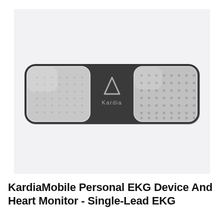[Figure (photo): KardiaMobile Personal EKG device — a small rectangular device with rounded corners, dark grey/black body, two silver textured electrode pads (one on each end), and the Kardia logo (triangle/A symbol with 'Kardia' text) in the center black section.]
KardiaMobile Personal EKG Device And Heart Monitor - Single-Lead EKG